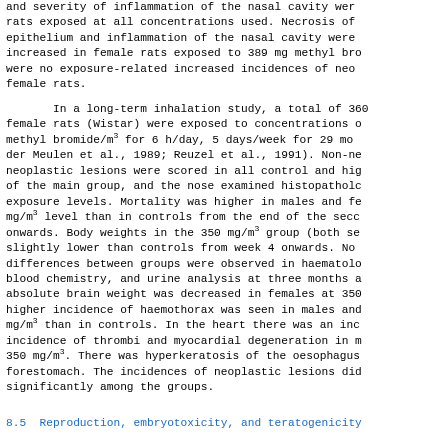and severity of inflammation of the nasal cavity were rats exposed at all concentrations used. Necrosis of epithelium and inflammation of the nasal cavity were increased in female rats exposed to 389 mg methyl bro were no exposure-related increased incidences of neo female rats.
In a long-term inhalation study, a total of 360 female rats (Wistar) were exposed to concentrations methyl bromide/m3 for 6 h/day, 5 days/week for 29 mo der Meulen et al., 1989; Reuzel et al., 1991). Non-n neoplastic lesions were scored in all control and hi of the main group, and the nose examined histopatho exposure levels. Mortality was higher in males and f mg/m3 level than in controls from the end of the sec onwards. Body weights in the 350 mg/m3 group (both s slightly lower than controls from week 4 onwards. N differences between groups were observed in haemato blood chemistry, and urine analysis at three months absolute brain weight was decreased in females at 35 higher incidence of haemothorax was seen in males an mg/m3 than in controls. In the heart there was an in incidence of thrombi and myocardial degeneration in 350 mg/m3. There was hyperkeratosis of the oesophag forestomach. The incidences of neoplastic lesions d significantly among the groups.
8.5  Reproduction, embryotoxicity, and teratogenicit